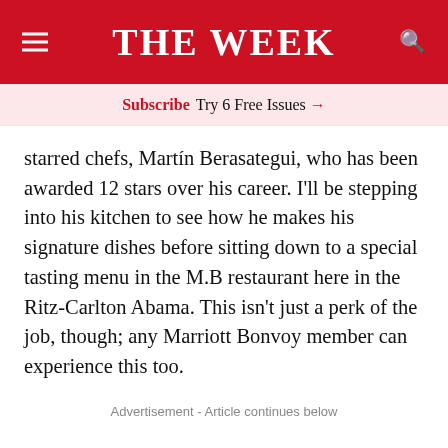THE WEEK
Subscribe Try 6 Free Issues →
starred chefs, Martín Berasategui, who has been awarded 12 stars over his career. I'll be stepping into his kitchen to see how he makes his signature dishes before sitting down to a special tasting menu in the M.B restaurant here in the Ritz-Carlton Abama. This isn't just a perk of the job, though; any Marriott Bonvoy member can experience this too.
Advertisement - Article continues below